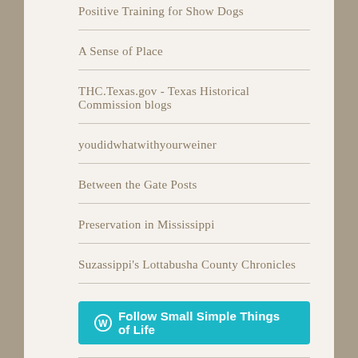Positive Training for Show Dogs
A Sense of Place
THC.Texas.gov - Texas Historical Commission blogs
youdidwhatwithyourweiner
Between the Gate Posts
Preservation in Mississippi
Suzassippi's Lottabusha County Chronicles
[Figure (other): WordPress Follow button: 'Follow Small Simple Things of Life' in cyan/teal with WordPress logo]